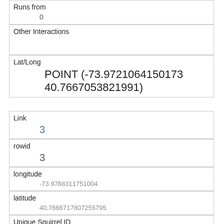| Runs from | 0 |
| Other Interactions |  |
| Lat/Long | POINT (-73.9721064150173 40.7667053821991) |
| Link | 3 |
| rowid | 3 |
| longitude | -73.9768311751004 |
| latitude | 40.7666717807255795 |
| Unique Squirrel ID | 2E-AM-1010-03 |
| Hectare | 02E |
| Shift | AM |